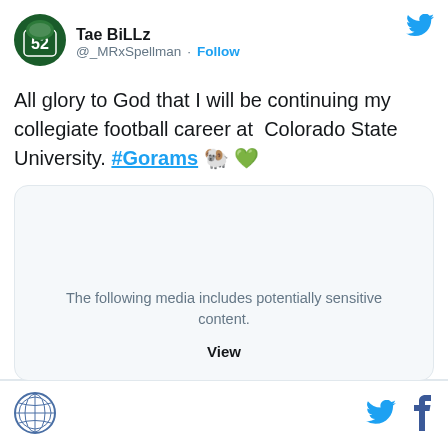[Figure (screenshot): Twitter/X profile avatar: footballer wearing green jersey number 52, Colorado State Rams colors]
Tae BiLLz
@_MRxSpellman · Follow
[Figure (logo): Twitter bird logo in blue, top right of tweet]
All glory to God that I will be continuing my collegiate football career at  Colorado State University. #Gorams 🐏💚
[Figure (screenshot): Media card with gray background and rounded corners. Text reads: The following media includes potentially sensitive content. View]
[Figure (logo): Footer: circular logo on left, Twitter bird and Facebook f icons on right]